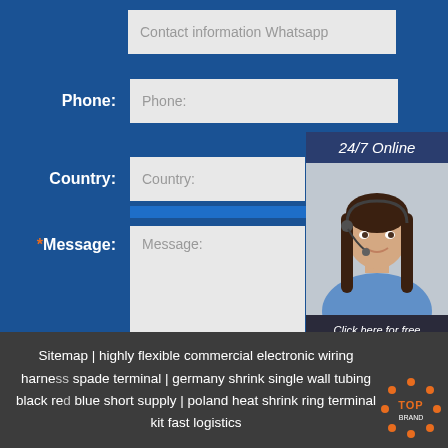Contact information Whatsapp
Phone:
Country:
*Message:
24/7 Online
Click here for free chat !
QUOTATION
Submit Now
Sitemap | highly flexible commercial electronic wiring harness spade terminal | germany shrink single wall tubing black red blue short supply | poland heat shrink ring terminal kit fast logistics